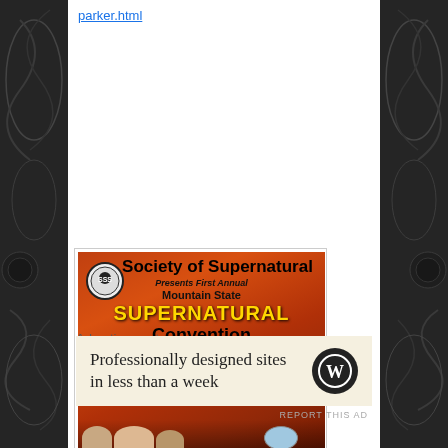parker.html
[Figure (illustration): Event flyer for Society of Supernatural First Annual Mountain State SUPERNATURAL Convention, June 16, 2018, 11AM-7PM, Wheeling Island Hotel Casino, Wheeling, West Virginia. Orange/red fiery background with black bold text and gold lettering.]
Advertisements
[Figure (logo): WordPress logo — circular black badge with W symbol. Advertisement for professionally designed sites in less than a week.]
Professionally designed sites in less than a week
REPORT THIS AD